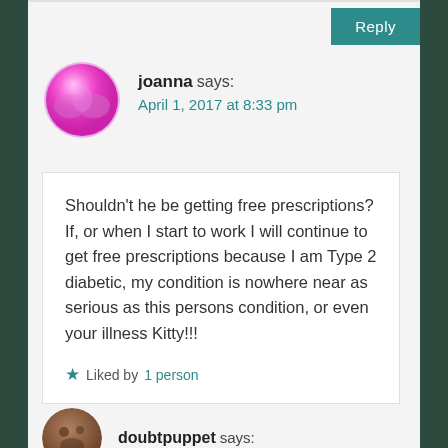Reply
joanna says:
April 1, 2017 at 8:33 pm
Shouldn't he be getting free prescriptions? If, or when I start to work I will continue to get free prescriptions because I am Type 2 diabetic, my condition is nowhere near as serious as this persons condition, or even your illness Kitty!!!
Liked by 1 person
doubtpuppet says: